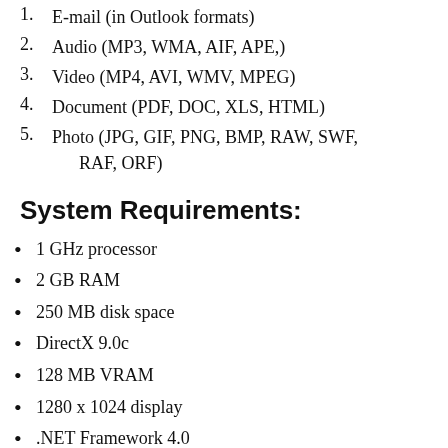1. E-mail (in Outlook formats)
2. Audio (MP3, WMA, AIF, APE,)
3. Video (MP4, AVI, WMV, MPEG)
4. Document (PDF, DOC, XLS, HTML)
5. Photo (JPG, GIF, PNG, BMP, RAW, SWF, RAF, ORF)
System Requirements:
1 GHz processor
2 GB RAM
250 MB disk space
DirectX 9.0c
128 MB VRAM
1280 x 1024 display
.NET Framework 4.0